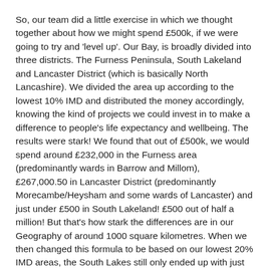So, our team did a little exercise in which we thought together about how we might spend £500k, if we were going to try and 'level up'. Our Bay, is broadly divided into three districts. The Furness Peninsula, South Lakeland and Lancaster District (which is basically North Lancashire). We divided the area up according to the lowest 10% IMD and distributed the money accordingly, knowing the kind of projects we could invest in to make a difference to people's life expectancy and wellbeing. The results were stark! We found that out of £500k, we would spend around £232,000 in the Furness area (predominantly wards in Barrow and Millom), £267,000.50 in Lancaster District (predominantly Morecambe/Heysham and some wards of Lancaster) and just under £500 in South Lakeland! £500 out of half a million! But that's how stark the differences are in our Geography of around 1000 square kilometres. When we then changed this formula to be based on our lowest 20% IMD areas, the South Lakes still only ended up with just over £1000.
We've also recently done a review of how many people in each area are living with Long Term conditions. What is very interesting is that in two almost identical areas in population size (Lancaster and